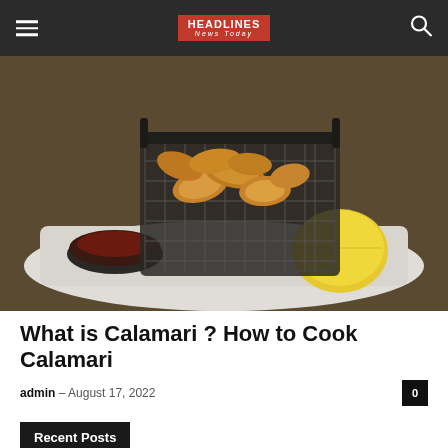HEADLINES News Today
[Figure (photo): Fried calamari served in a wire basket on a white plate with a small bowl of dipping sauce and a lemon half, on a wooden table.]
What is Calamari ? How to Cook Calamari
admin – August 17, 2022
Recent Posts
What is bbl surgery ? Facts you need to know